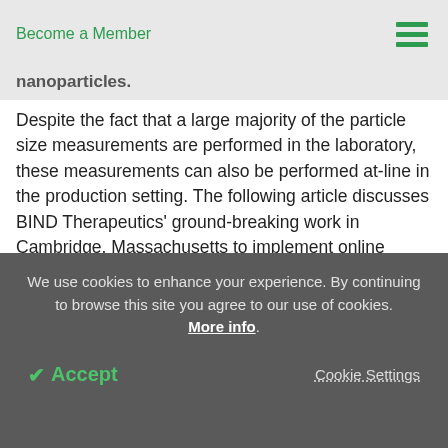Become a Member
nanoparticles.
Despite the fact that a large majority of the particle size measurements are performed in the laboratory, these measurements can also be performed at-line in the production setting. The following article discusses BIND Therapeutics' ground-breaking work in Cambridge, Massachusetts to implement online dynamic light scattering (DLS) measurements in the nanoparticle drug candidate Accurins' production
We use cookies to enhance your experience. By continuing to browse this site you agree to our use of cookies. More info.
Accept
Cookie Settings